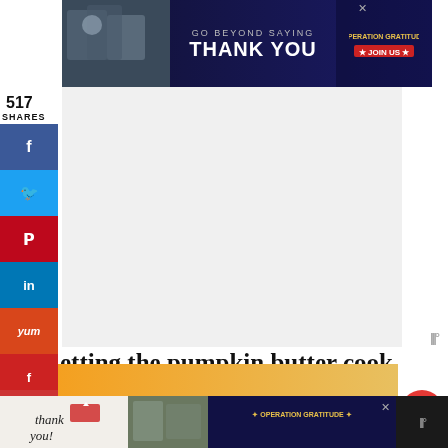[Figure (infographic): Advertisement banner: GO BEYOND SAYING THANK YOU - Operation Gratitude JOIN US]
517
SHARES
[Figure (infographic): Facebook share button (sidebar)]
[Figure (infographic): Twitter share button (sidebar)]
[Figure (infographic): Pinterest share button (sidebar)]
[Figure (infographic): LinkedIn share button (sidebar)]
[Figure (infographic): Yummly share button (sidebar)]
[Figure (infographic): Flipboard share button (sidebar)]
[Figure (infographic): Mix share button (sidebar)]
[Figure (infographic): Email share button (sidebar)]
etting the pumpkin butter cook overnight in the slow cooker was great. Waking up to the pumpkin and spice smell was a wonderful way to start my day. Now just had to puree it with a stick blender.
[Figure (infographic): Bottom advertisement: thank you / Operation Gratitude]